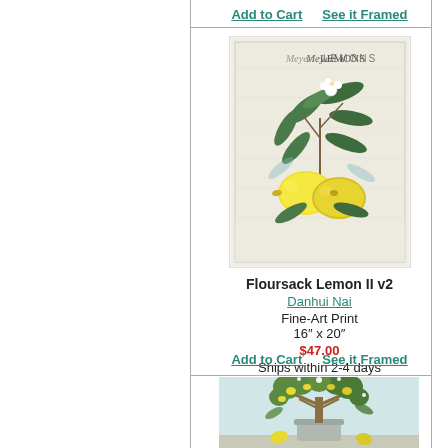Add to Cart   See it Framed
[Figure (illustration): Floursack Lemon II v2 - botanical illustration of Meyer lemons with leaves and blossoms on vintage linen background]
Floursack Lemon II v2
Danhui Nai
Fine-Art Print
16" x 20"
$47.00
Ships within 2-4 days
Add to Cart   See it Framed
[Figure (illustration): Botanical illustration of a potted lemon tree with yellow lemons, white blossoms, and green leaves in a metal bucket, with lemons on the ground]